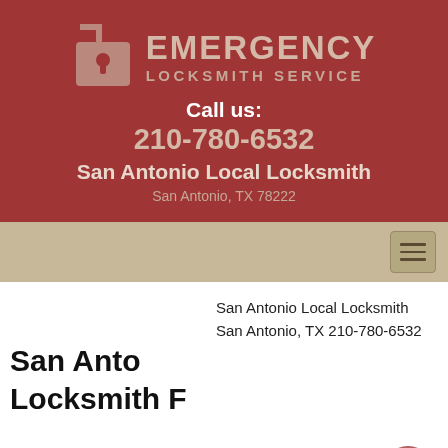[Figure (logo): Emergency Locksmith Service logo with padlock icon]
EMERGENCY LOCKSMITH SERVICE
Call us: 210-780-6532
San Antonio Local Locksmith
San Antonio, TX 78222
[Figure (other): Navigation bar with hamburger menu icon]
San Antonio Local Locksmith San Antonio, TX 210-780-6532
San Antonio Local Locksmith F
San Antonio Local